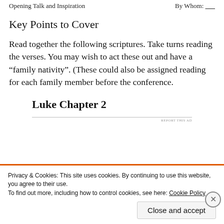Opening Talk and Inspiration    By Whom: ___
Key Points to Cover
Read together the following scriptures.  Take turns reading the verses.  You may wish to act these out and have a “family nativity”.  (These could also be assigned reading for each family member before the conference.
Luke Chapter 2
Privacy & Cookies: This site uses cookies. By continuing to use this website, you agree to their use.
To find out more, including how to control cookies, see here: Cookie Policy
Close and accept